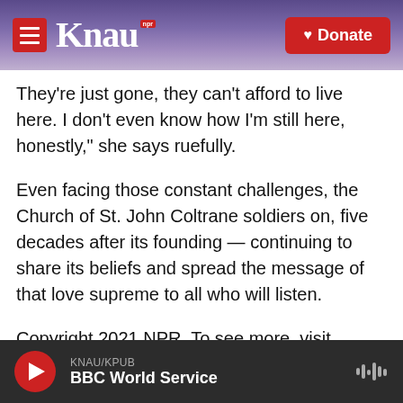[Figure (screenshot): KNAU NPR radio station website header with purple mountain background, KNAU logo in white serif font, red hamburger menu button, and red Donate button with heart icon]
They're just gone, they can't afford to live here. I don't even know how I'm still here, honestly," she says ruefully.
Even facing those constant challenges, the Church of St. John Coltrane soldiers on, five decades after its founding — continuing to share its beliefs and spread the message of that love supreme to all who will listen.
Copyright 2021 NPR. To see more, visit https://www.npr.org.
KNAU/KPUB BBC World Service